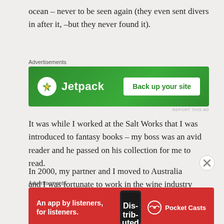ocean – never to be seen again (they even sent divers in after it, –but they never found it).
[Figure (other): Jetpack advertisement banner: green background with Jetpack logo and 'Back up your site' button]
It was while I worked at the Salt Works that I was introduced to fantasy books – my boss was an avid reader and he passed on his collection for me to read.
In 2000, my partner and I moved to Australia and I was fortunate to work in the wine industry in the Barossa Valley, but because I had a lot to learn, I had homework – on Thursday evenings I attended the Adelaide Wine Institute for wine tasting. The trip home in the taxi was
[Figure (other): Pocket Casts advertisement banner: red background with 'An app by listeners, for listeners.' text and Pocket Casts logo]